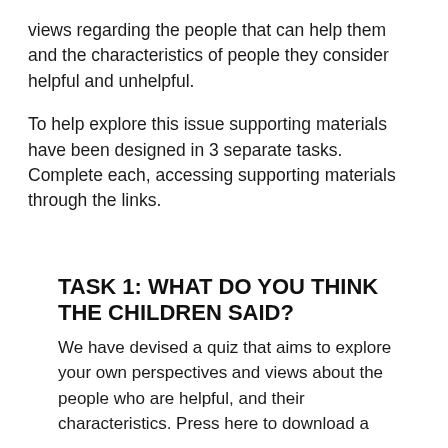views regarding the people that can help them and the characteristics of people they consider helpful and unhelpful.
To help explore this issue supporting materials have been designed in 3 separate tasks. Complete each, accessing supporting materials through the links.
TASK 1: WHAT DO YOU THINK THE CHILDREN SAID?
We have devised a quiz that aims to explore your own perspectives and views about the people who are helpful, and their characteristics. Press here to download a